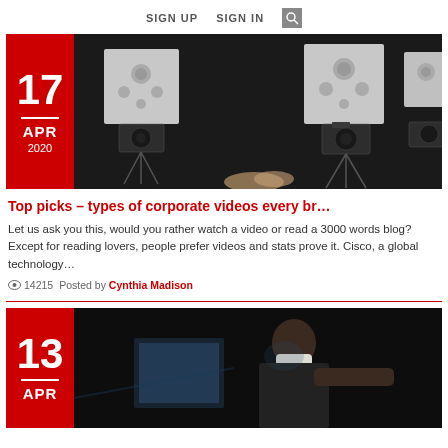SIGN UP   SIGN IN   [search icon]
[Figure (photo): Blog post card with red date box showing 17 APR 2020 and a dark photo of professional video cameras on tripods]
Top picks – types of corporate videos every br…
Let us ask you this, would you rather watch a video or read a 3000 words blog?  Except for reading lovers, people prefer videos and stats prove it. Cisco, a global technology…
👁 14215   Posted by Cynthia Madison
[Figure (photo): Blog post card with red date box showing 13 APR and a dark photo of a person wearing a mask looking at a screen]